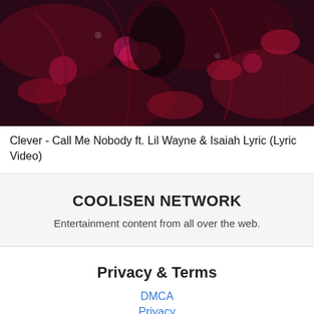[Figure (photo): Dark abstract music video thumbnail with red/magenta splatter effects and a shadowy figure in the background]
Clever - Call Me Nobody ft. Lil Wayne & Isaiah Lyric (Lyric Video)
COOLISEN NETWORK
Entertainment content from all over the web.
Privacy & Terms
DMCA
Privacy
Links